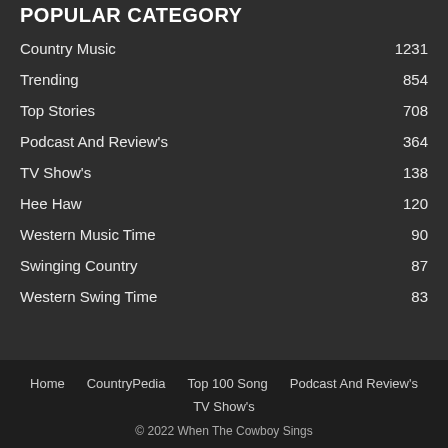POPULAR CATEGORY
Country Music  1231
Trending  854
Top Stories  708
Podcast And Review's  364
TV Show's  138
Hee Haw  120
Western Music Time  90
Swinging Country  87
Western Swing Time  83
Home  CountryPedia  Top 100 Song  Podcast And Review's  TV Show's  © 2022 When The Cowboy Sings